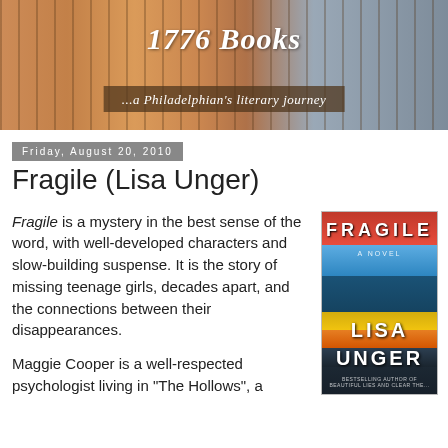[Figure (illustration): Blog header banner for '1776 Books' showing a background of shelved books with warm orange/brown tones. Title text reads '1776 Books' in large italic serif font, with subtitle '...a Philadelphian's literary journey' on a dark brown banner below.]
Friday, August 20, 2010
Fragile (Lisa Unger)
Fragile is a mystery in the best sense of the word, with well-developed characters and slow-building suspense. It is the story of missing teenage girls, decades apart, and the connections between their disappearances.
Maggie Cooper is a well-respected psychologist living in "The Hollows", a
[Figure (photo): Book cover of 'Fragile' by Lisa Unger. Shows a person in a red coat and teal shirt from behind, wearing jeans, standing among autumn leaves. The title 'FRAGILE' appears at the top in large bold letters, 'A NOVEL' below it, and 'LISA UNGER' in large bold letters near the bottom. Bottom text reads 'Bestselling Author of Beautiful Lies and Clear the...']